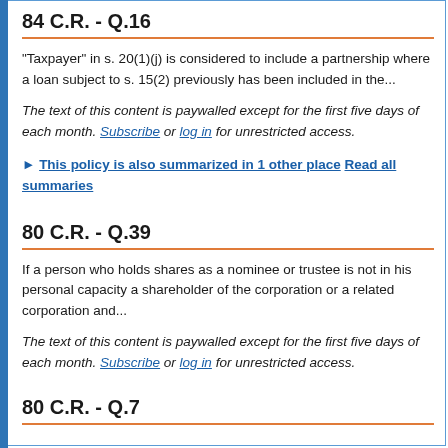84 C.R. - Q.16
"Taxpayer" in s. 20(1)(j) is considered to include a partnership where a loan subject to s. 15(2) previously has been included in the...
The text of this content is paywalled except for the first five days of each month. Subscribe or log in for unrestricted access.
► This policy is also summarized in 1 other place Read all summaries
80 C.R. - Q.39
If a person who holds shares as a nominee or trustee is not in his personal capacity a shareholder of the corporation or a related corporation and...
The text of this content is paywalled except for the first five days of each month. Subscribe or log in for unrestricted access.
80 C.R. - Q.7